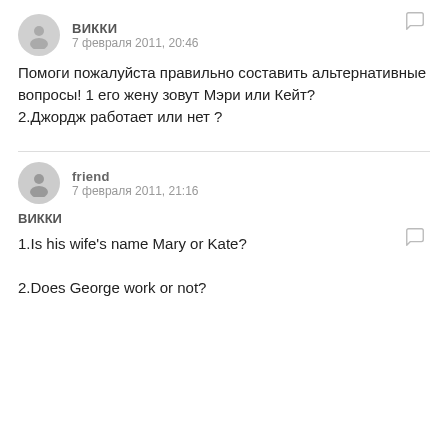викки
7 февраля 2011, 20:46
Помоги пожалуйста правильно составить альтернативные вопросы! 1 его жену зовут Мэри или Кейт?
2.Джордж работает или нет ?
friend
7 февраля 2011, 21:16
викки
1.Is his wife's name Mary or Kate?
2.Does George work or not?